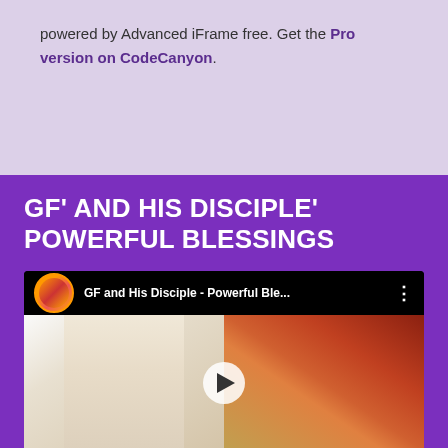powered by Advanced iFrame free. Get the Pro version on CodeCanyon.
GF' AND HIS DISCIPLE' POWERFUL BLESSINGS
[Figure (screenshot): YouTube video embed showing 'GF and His Disciple - Powerful Ble...' with channel avatar, video thumbnail of person in white garment and colorful items, and play button overlay.]